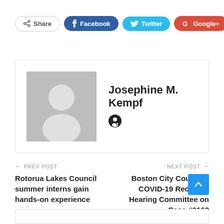[Figure (infographic): Social sharing buttons: Share, Facebook, Twitter, Google+, and a plus button]
[Figure (infographic): Author bio box with placeholder avatar image and author name Josephine M. Kempf with a website/pin icon]
Josephine M. Kempf
PREV POST  Rotorua Lakes Council summer interns gain hands-on experience
NEXT POST  Boston City Council's COVID-19 Recovery Hearing Committee on Case #0160